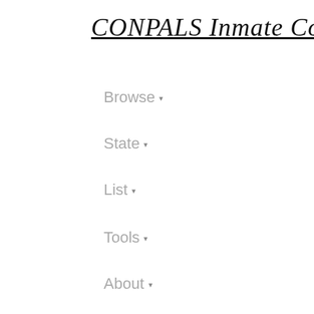CONPALS Inmate Connections!
Browse ▾
State ▾
List ▾
Tools ▾
About ▾
Search (input field)
Search (button)
[Figure (photo): Shirtless man with white cap leaning against brick wall, tattooed]
John Henry
#49458-044
[Figure (photo): Partial view of a second photo at bottom right, camouflage or muted earth tones]